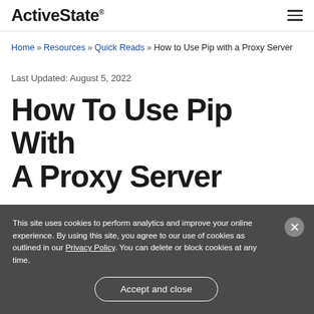ActiveState®
Home » Resources » Quick Reads » How to Use Pip with a Proxy Server
Last Updated: August 5, 2022
How To Use Pip With A Proxy Server
This site uses cookies to perform analytics and improve your online experience. By using this site, you agree to our use of cookies as outlined in our Privacy Policy. You can delete or block cookies at any time.
Accept and close